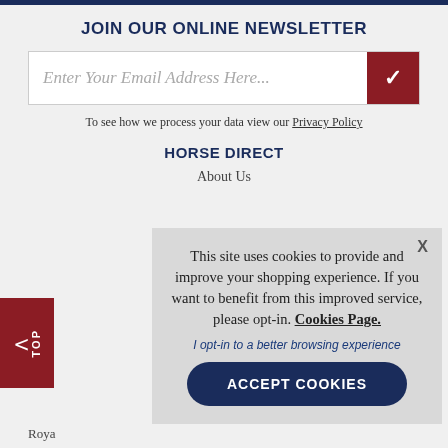JOIN OUR ONLINE NEWSLETTER
Enter Your Email Address Here...
To see how we process your data view our Privacy Policy
HORSE DIRECT
About Us
This site uses cookies to provide and improve your shopping experience. If you want to benefit from this improved service, please opt-in. Cookies Page.
I opt-in to a better browsing experience
ACCEPT COOKIES
Roya